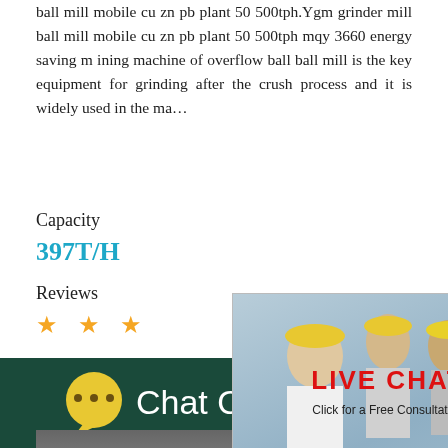ball mill mobile cu zn pb plant 50 500tph.Ygm grinder mill ball mill mobile cu zn pb plant 50 500tph mqy 3660 energy saving mining machine of overflow ball ball mill is the key equipment for grinding after the crush process and it is widely used in the ma…
Capacity
397T/H
Reviews
★ ★ ★
[Figure (screenshot): Live chat popup overlay showing workers in hard hats with LIVE CHAT text in red, subtitle 'Click for a Free Consultation', and two buttons: 'Chat now' (red) and 'Chat later' (dark). A close button (x) is in the top right corner.]
[Figure (screenshot): Right side panel showing a mood meter gauge widget with emoji faces and 'Click me to chat >>' button and 'Enquiry' text, on a cyan/teal background. Text reads 'best state for you!']
[Figure (photo): Industrial ball mill equipment photo showing white machinery with metal framework and blue structural elements in a factory setting.]
[Figure (infographic): Chat Online footer bar with dark green background, yellow speech bubble icon with three dots, and white 'Chat Online' text.]